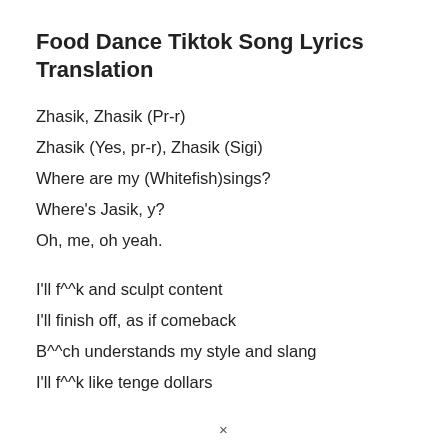Food Dance Tiktok Song Lyrics Translation
Zhasik, Zhasik (Pr-r)
Zhasik (Yes, pr-r), Zhasik (Sigi)
Where are my (Whitefish)sings?
Where's Jasik, y?
Oh, me, oh yeah.
I'll f^^k and sculpt content
I'll finish off, as if comeback
B^^ch understands my style and slang
I'll f^^k like tenge dollars
×